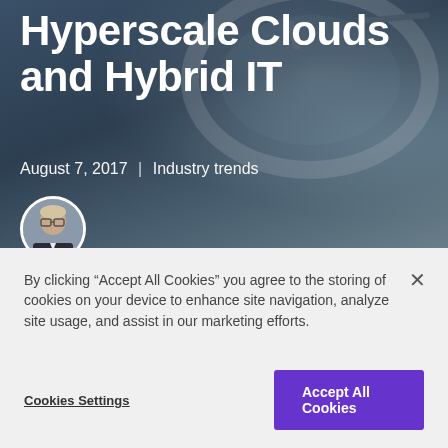Hyperscale Clouds and Hybrid IT
August 7, 2017 | Industry trends
[Figure (photo): Circular author headshot photo of a man wearing glasses and a suit, with dark background]
By clicking “Accept All Cookies” you agree to the storing of cookies on your device to enhance site navigation, analyze site usage, and assist in our marketing efforts.
Cookies Settings
Accept All Cookies